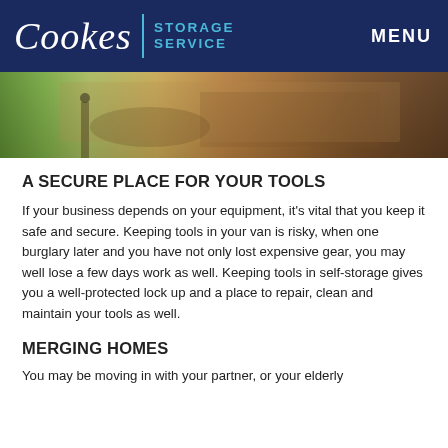Cookes | STORAGE SERVICE    MENU
[Figure (photo): Outdoor photo showing a person walking near a vehicle or storage area, with driveway and greenery visible]
A SECURE PLACE FOR YOUR TOOLS
If your business depends on your equipment, it’s vital that you keep it safe and secure. Keeping tools in your van is risky, when one burglary later and you have not only lost expensive gear, you may well lose a few days work as well. Keeping tools in self-storage gives you a well-protected lock up and a place to repair, clean and maintain your tools as well.
MERGING HOMES
You may be moving in with your partner, or your elderly